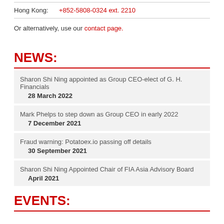| Location | Phone |
| --- | --- |
| Hong Kong: | +852-5808-0324 ext. 2210 |
Or alternatively, use our contact page.
NEWS:
Sharon Shi Ning appointed as Group CEO-elect of G. H. Financials
28 March 2022
Mark Phelps to step down as Group CEO in early 2022
7 December 2021
Fraud warning: Potatoex.io passing off details
30 September 2021
Sharon Shi Ning Appointed Chair of FIA Asia Advisory Board
April 2021
EVENTS: